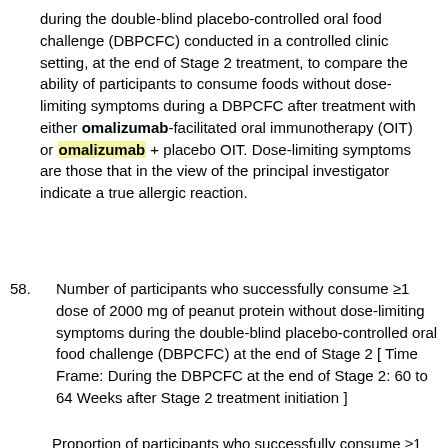during the double-blind placebo-controlled oral food challenge (DBPCFC) conducted in a controlled clinic setting, at the end of Stage 2 treatment, to compare the ability of participants to consume foods without dose-limiting symptoms during a DBPCFC after treatment with either omalizumab-facilitated oral immunotherapy (OIT) or omalizumab + placebo OIT. Dose-limiting symptoms are those that in the view of the principal investigator indicate a true allergic reaction.
58. Number of participants who successfully consume ≥1 dose of 2000 mg of peanut protein without dose-limiting symptoms during the double-blind placebo-controlled oral food challenge (DBPCFC) at the end of Stage 2 [ Time Frame: During the DBPCFC at the end of Stage 2: 60 to 64 Weeks after Stage 2 treatment initiation ]
Proportion of participants who successfully consume ≥1 dose of 2000 mg of peanut protein without dose-limiting